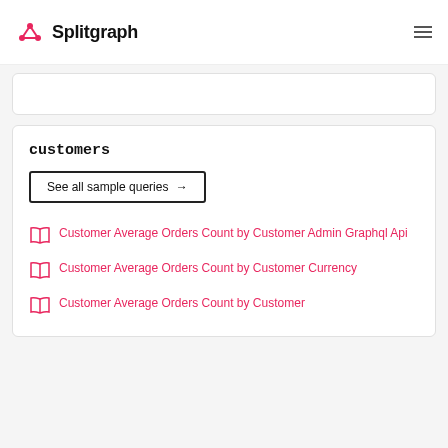Splitgraph
customers
See all sample queries →
Customer Average Orders Count by Customer Admin Graphql Api
Customer Average Orders Count by Customer Currency
Customer Average Orders Count by Customer